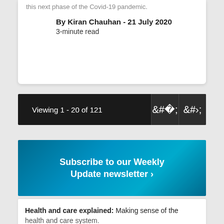this next phase of the Covid-19 pandemic.
By Kiran Chauhan - 21 July 2020
3-minute read
Viewing 1 - 20 of 121
Subscribe to our Weekly Update newsletter ›
Health and care explained: Making sense of the health and care system.